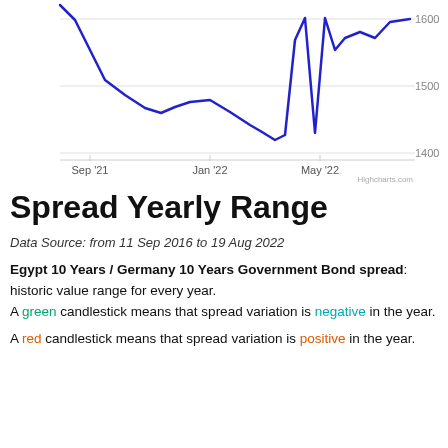[Figure (continuous-plot): Line chart showing Egypt 10 Years / Germany 10 Years Government Bond spread from Sep '21 to around Aug '22. The line starts high near 1600, dips to around 1450, rises slightly to around 1490 in Jan '22, then falls sharply to about 1430 by May '22, then spikes sharply up to ~1600 near Jun '22, then falls back and rises again past 1600 by Aug '22. Y-axis labels: 1400, 1500, 1600. X-axis labels: Sep '21, Jan '22, May '22.]
Spread Yearly Range
Data Source: from 11 Sep 2016 to 19 Aug 2022
Egypt 10 Years / Germany 10 Years Government Bond spread: historic value range for every year.
A green candlestick means that spread variation is negative in the year.
A red candlestick means that spread variation is positive in the year.